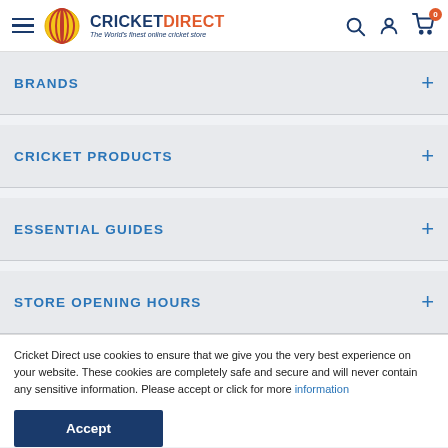Cricket Direct — The World's finest online cricket store
BRANDS
CRICKET PRODUCTS
ESSENTIAL GUIDES
STORE OPENING HOURS
Cricket Direct use cookies to ensure that we give you the very best experience on your website. These cookies are completely safe and secure and will never contain any sensitive information. Please accept or click for more information
Accept